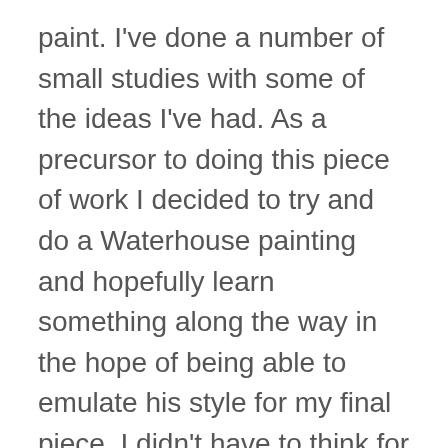paint. I've done a number of small studies with some of the ideas I've had. As a precursor to doing this piece of work I decided to try and do a Waterhouse painting and hopefully learn something along the way in the hope of being able to emulate his style for my final piece. I didn't have to think for long about which of his works to paint as I'd already decided months before (after having a stab at Fair Rosamund) that it's a picture I would like to have a go at (being A Naiad). To get the maximum impact from doing said picture I would have to do something I'd never done before and that was use oils on canvas and when I found out that my college actually made canvases for students to